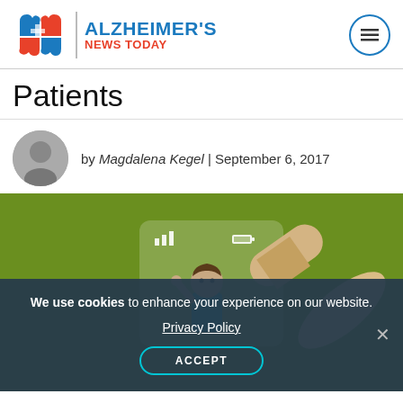ALZHEIMER'S NEWS TODAY
Patients
by Magdalena Kegel | September 6, 2017
[Figure (illustration): Green background illustration of a cartoon person holding a large smartphone/tablet, with signal and battery icons visible on screen. A large pill/capsule graphic overlays the right side.]
We use cookies to enhance your experience on our website. Privacy Policy ACCEPT